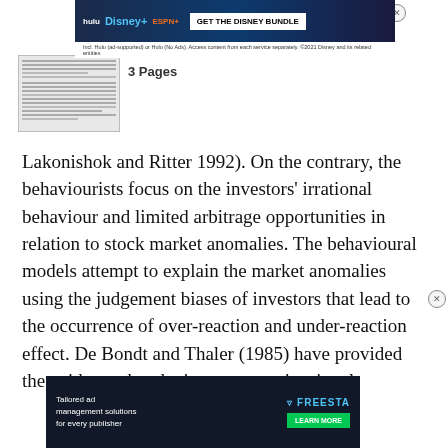[Figure (screenshot): Top advertisement banner for Disney Bundle (Hulu, Disney+, ESPN+)]
[Figure (screenshot): Thumbnail preview of a document page showing 3 Pages label]
Lakonishok and Ritter 1992). On the contrary, the behaviourists focus on the investors' irrational behaviour and limited arbitrage opportunities in relation to stock market anomalies. The behavioural models attempt to explain the market anomalies using the judgement biases of investors that lead to the occurrence of over-reaction and under-reaction effect. De Bondt and Thaler (1985) have provided the evidence that the investors are irrational.
[Figure (screenshot): Bottom advertisement banner for Freesta tailored ad management solutions]